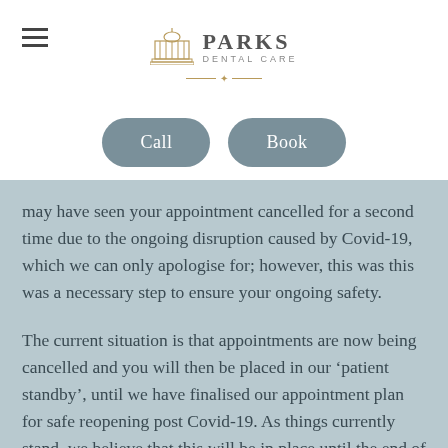[Figure (logo): Parks Dental Care logo with building icon, text PARKS DENTAL CARE, and decorative gold line ornament]
[Figure (other): Two pill-shaped buttons labelled Call and Book in slate blue/grey]
may have seen your appointment cancelled for a second time due to the ongoing disruption caused by Covid-19, which we can only apologise for; however, this was this was a necessary step to ensure your ongoing safety.
The current situation is that appointments are now being cancelled and you will then be placed in our ‘patient standby’, until we have finalised our appointment plan for safe reopening post Covid-19. As things currently stand, we believe that this will be in place until the end of May at least, but may be subject to change, depending on any amendments to the Government’s position. We will of course keep